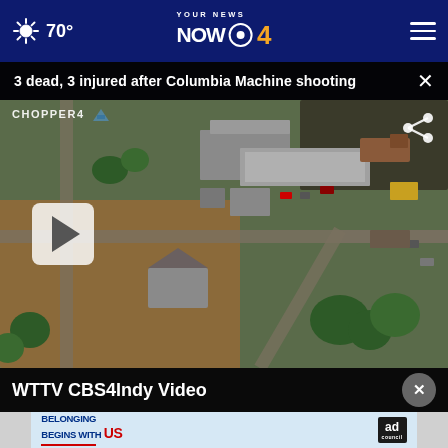70° YOUR NEWS NOW CBS 4
3 dead, 3 injured after Columbia Machine shooting
[Figure (screenshot): CHOPPER4 aerial view of the Columbia Machine shooting scene showing industrial buildings, roads, fields, trees, and a house from above. A play button overlay is visible in the lower left area.]
WTTV CBS4Indy Video
[Figure (screenshot): Advertisement banner: BELONGING BEGINS WITH US - Ad Council]